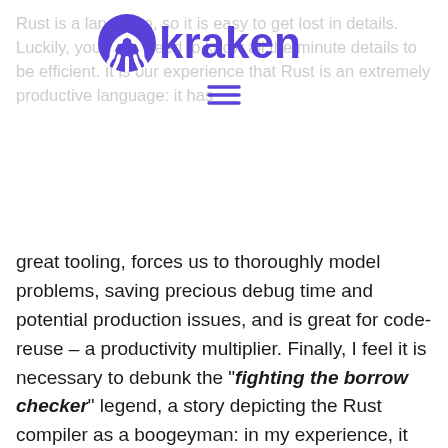Kraken logo and hamburger menu overlay
Rust is a language, so it is easy to get lost in detail. Luckily, you don't need to know all the minute details to be efficient. It is our experience that Rust is an extremely productive language: it has great tooling, forces us to thoroughly model problems, saving precious debug time and potential production issues, and is great for code-reuse – a productivity multiplier. Finally, I feel it is necessary to debunk the “fighting the borrow checker” legend, a story depicting the Rust compiler as a boogeyman: in my experience, it happens mostly to beginners and the 1% trying to micro-optimize code or push the boundaries. Most experienced Rust developers know exactly how to model their code in a way that no time is wasted fighting the compiler on design issues, and can spot anti-patterns at a glance, just like most people know how to drive their car on the correct side of the road to